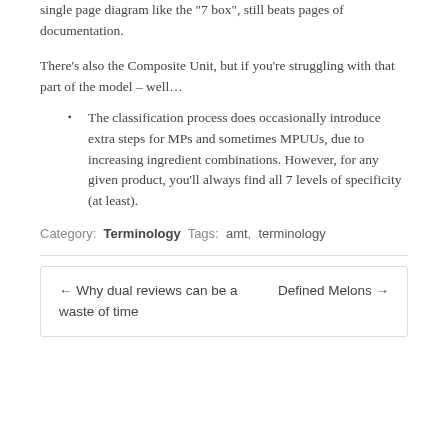single page diagram like the "7 box", still beats pages of documentation.
There's also the Composite Unit, but if you're struggling with that part of the model – well…
The classification process does occasionally introduce extra steps for MPs and sometimes MPUUs, due to increasing ingredient combinations. However, for any given product, you'll always find all 7 levels of specificity (at least).
Category:  Terminology  Tags:  amt,  terminology
← Why dual reviews can be a waste of time     Defined Melons →